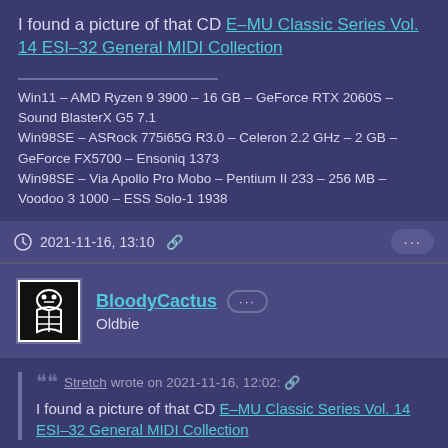I found a picture of that CD E-MU Classic Series Vol. 14 ESI-32 General MIDI Collection
Win11 – AMD Ryzen 9 3900 – 16 GB – GeForce RTX 2060S – Sound BlasterX G5 7.1
Win98SE – ASRock 775i65G R3.0 – Celeron 2.2 GHz – 2 GB – GeForce FX5700 – Ensoniq 1373
Win98SE – Via Apollo Pro Mobo – Pentium II 233 – 256 MB – Voodoo 3 1000 – ESS Solo-1 1938
2021-11-16, 13:10
BloodyCactus
Oldbie
Stretch wrote on 2021-11-16, 12:02:
I found a picture of that CD E-MU Classic Series Vol. 14 ESI-32 General MIDI Collection